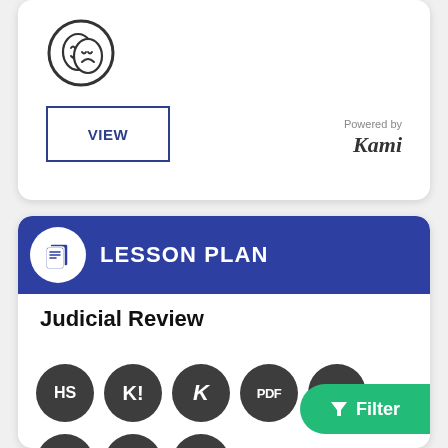[Figure (illustration): Drama/theater masks icon inside a circle]
VIEW
Powered by Kami
[Figure (illustration): Document/lesson plan icon in circle on blue header bar]
LESSON PLAN
Judicial Review
[Figure (illustration): Row of badge icons: HS, K!, K, PDF, and a partially visible icon]
[Figure (illustration): Second row of badge icons partially visible at bottom]
Filter